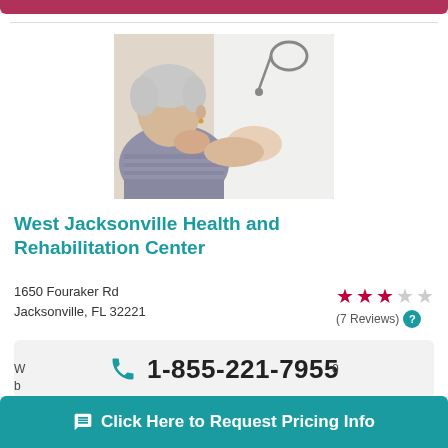[Figure (photo): Elderly patient with grey hair holding hands with a doctor in white coat wearing stethoscope]
West Jacksonville Health and Rehabilitation Center
1650 Fouraker Rd
Jacksonville, FL 32221
★★★☆☆ (7 Reviews)
1-855-221-7955
Click Here to Request Pricing Info